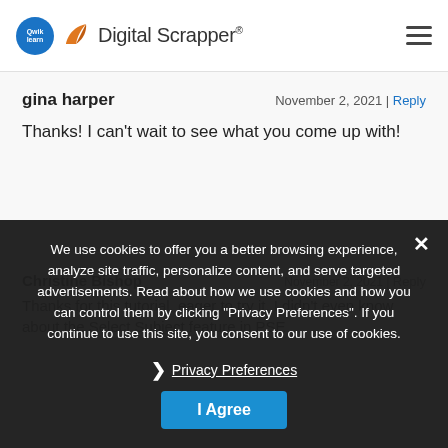Digital Scrapper
gina harper
November 2, 2021 | Reply
Thanks! I can't wait to see what you come up with!
We use cookies to offer you a better browsing experience, analyze site traffic, personalize content, and serve targeted advertisements. Read about how we use cookies and how you can control them by clicking "Privacy Preferences". If you continue to use this site, you consent to our use of cookies.
Privacy Preferences
I Agree
Christine Bishop
November 2, 2021 | Reply
Thanks for this tutorial, eager to try it. I didn't even know about the Select Subject feature in PSE